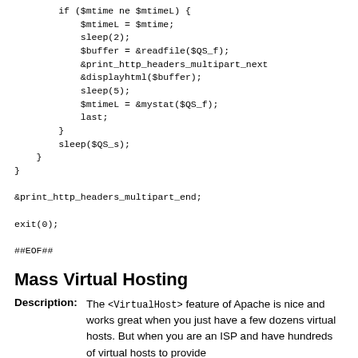if ($mtime ne $mtimeL) {
            $mtimeL = $mtime;
            sleep(2);
            $buffer = &readfile($QS_f);
            &print_http_headers_multipart_next
            &displayhtml($buffer);
            sleep(5);
            $mtimeL = &mystat($QS_f);
            last;
        }
        sleep($QS_s);
    }
}

&print_http_headers_multipart_end;

exit(0);

##EOF##
Mass Virtual Hosting
Description: The <VirtualHost> feature of Apache is nice and works great when you just have a few dozens virtual hosts. But when you are an ISP and have hundreds of virtual hosts to provide this feature can be a hard thing.